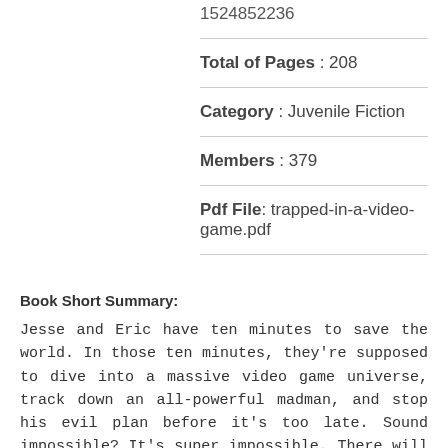1524852236
Total of Pages : 208
Category : Juvenile Fiction
Members : 379
Pdf File: trapped-in-a-video-game.pdf
Book Short Summary:
Jesse and Eric have ten minutes to save the world. In those ten minutes, they're supposed to dive into a massive video game universe, track down an all-powerful madman, and stop his evil plan before it's too late. Sound impossible? It's super impossible. There will be